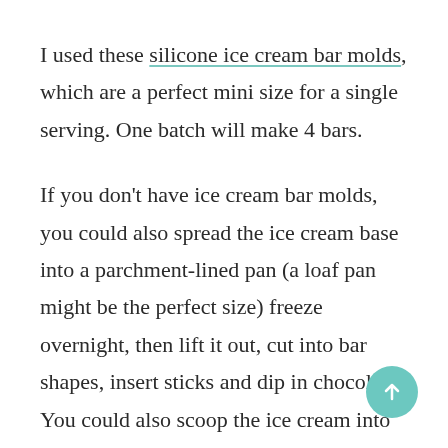I used these silicone ice cream bar molds, which are a perfect mini size for a single serving. One batch will make 4 bars.
If you don't have ice cream bar molds, you could also spread the ice cream base into a parchment-lined pan (a loaf pan might be the perfect size) freeze overnight, then lift it out, cut into bar shapes, insert sticks and dip in chocolate. You could also scoop the ice cream into balls, refreeze, and then dip in chocolate for banana ice cream truffles. Or go sundae style and scoop the ice cream into a serving bowl, douse with hot fudge, and pile high with